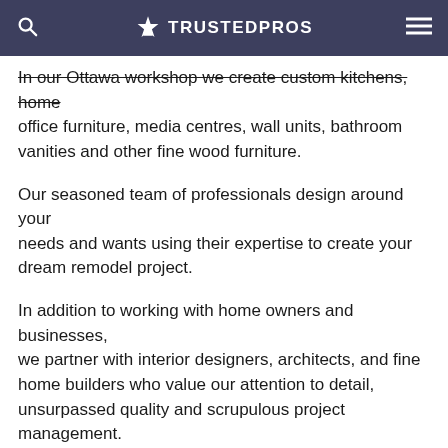TRUSTEDPROS
In our Ottawa workshop we create custom kitchens, home office furniture, media centres, wall units, bathroom vanities and other fine wood furniture.
Our seasoned team of professionals design around your needs and wants using their expertise to create your dream remodel project.
In addition to working with home owners and businesses, we partner with interior designers, architects, and fine home builders who value our attention to detail, unsurpassed quality and scrupulous project management. All our work is individually built for each of our client s unique requirements.
We only employ the best craftsmen and installers to ensure all our work is of the highest quality.